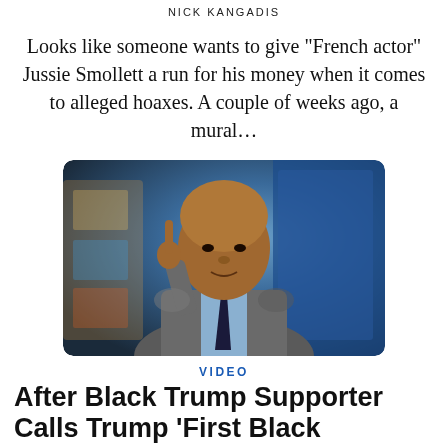NICK KANGADIS
Looks like someone wants to give “French actor” Jussie Smollett a run for his money when it comes to alleged hoaxes. A couple of weeks ago, a mural…
[Figure (photo): A bald Black man in a grey suit with a light blue shirt and dark tie, pointing one finger upward, appearing to be on a television news set with blue background lights.]
VIDEO
After Black Trump Supporter Calls Trump 'First Black President,' CNN